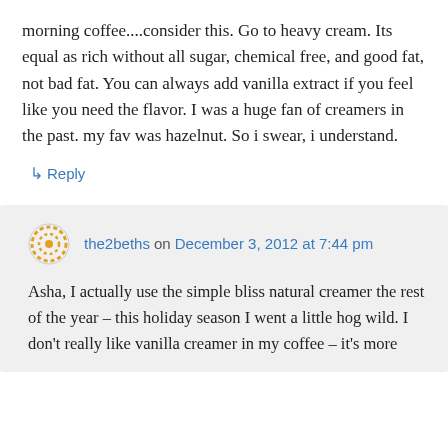morning coffee....consider this. Go to heavy cream. Its equal as rich without all sugar, chemical free, and good fat, not bad fat. You can always add vanilla extract if you feel like you need the flavor. I was a huge fan of creamers in the past. my fav was hazelnut. So i swear, i understand.
↳ Reply
the2beths on December 3, 2012 at 7:44 pm
Asha, I actually use the simple bliss natural creamer the rest of the year – this holiday season I went a little hog wild. I don't really like vanilla creamer in my coffee – it's more